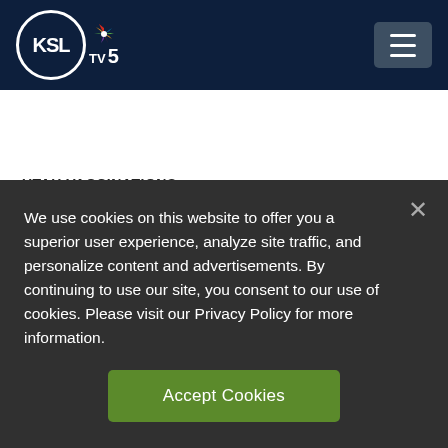[Figure (logo): KSL TV5 NBC logo with circle emblem and NBC peacock feathers]
UTAH VACCINATIONS
Smith's Drops Mask Mandate
We use cookies on this website to offer you a superior user experience, analyze site traffic, and personalize content and advertisements. By continuing to use our site, you consent to our use of cookies. Please visit our Privacy Policy for more information.
Accept Cookies